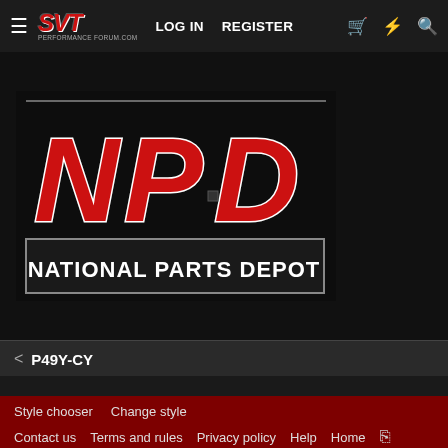SVT Performance Forum | LOG IN  REGISTER
[Figure (logo): NPD National Parts Depot logo — red and white bold letters NPD on black background with National Parts Depot text in white on dark bordered box]
< P49Y-CY
Style chooser  Change style
Contact us  Terms and rules  Privacy policy  Help  Home
Community platform by XenForo® © 2010-2021 XenForo Ltd.
Parts of this site powered by XenForo add-ons from DragonByte™ ©2011-2022 DragonByte Technologies Ltd. (Details)
XenPorta 2 PRO © Jason Axelrod of 8WAYRUN